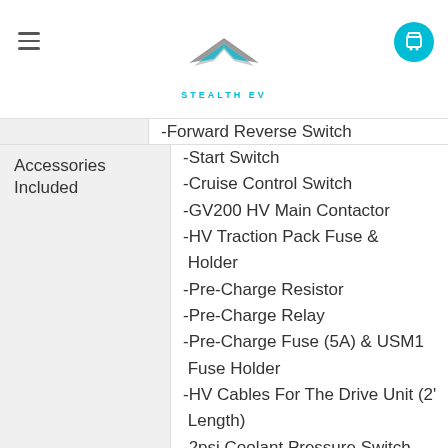STEALTH EV
-Forward Reverse Switch
-Start Switch
-Cruise Control Switch
-GV200 HV Main Contactor
-HV Traction Pack Fuse & Holder
-Pre-Charge Resistor
-Pre-Charge Relay
-Pre-Charge Fuse (5A) & USM1 Fuse Holder
-HV Cables For The Drive Unit (2' Length)
-2psi Coolant Pressure Switch Kit With Inline Barb Fitting
-Tesla Water Pump (With Plugs & Pins)
-New Axle Seals